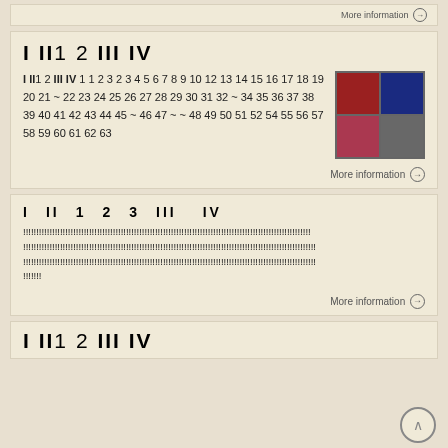More information →
I II 1 2 III IV
I II 1 2 III IV 1 1 2 3 2 3 4 5 6 7 8 9 10 12 13 14 15 16 17 18 19 20 21 ~ 22 23 24 25 26 27 28 29 30 31 32 ~ 34 35 36 37 38 39 40 41 42 43 44 45 ~ 46 47 ~ ~ 48 49 50 51 52 54 55 56 57 58 59 60 61 62 63
[Figure (photo): Four video game cartridges arranged in a 2x2 grid]
More information →
I  II  1  2  3  III  IV
!!!!!!!!!!!!!!!!!!!!!!!!!!!!!!!!!!!!!!!!!!!!!!!!!!!!!!!!!!!!!!!!!!!!!!!!!!!!!!!!!!!!!!!!!!!!!!!!!!!!!!!!!!!!!!!!!!!!!!!!!!!!!!!!!!!!!!!!!!!!!!!!!!!!!!!!!!!!!!!!!!!!!!!!!!!!!!!!!!!!!!!!!!!!!!!!!!!!!!!!!!!!!!!!!!!!!!!!!!!!!!!!!!!!!!!!!!!!!!!!!!!!!!!!!!!!!!!!!!!!!!!!!!!!!!!!!!!!!!!!!!!!!!!!!!!!!!!!!!!!!!!!!!!!!!!!!!!!!!!!!!!!!!!!!!!!!!!!!!!!!!!!!!
More information →
I II 1 2 III IV